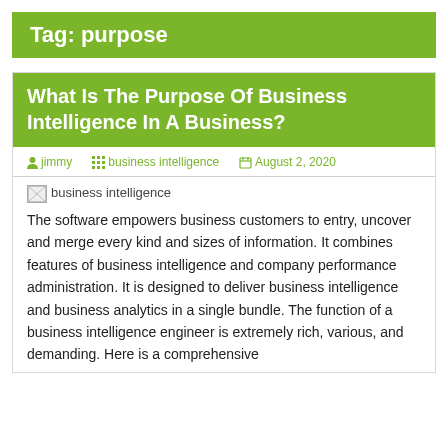Tag: purpose
What Is The Purpose Of Business Intelligence In A Business?
jimmy  business intelligence  August 2, 2020
[Figure (photo): Broken image placeholder with alt text 'business intelligence']
The software empowers business customers to entry, uncover and merge every kind and sizes of information. It combines features of business intelligence and company performance administration. It is designed to deliver business intelligence and business analytics in a single bundle. The function of a business intelligence engineer is extremely rich, various, and demanding. Here is a comprehensive...